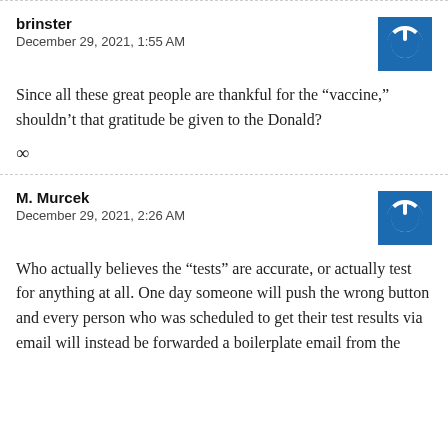brinster
December 29, 2021, 1:55 AM
[Figure (logo): Blue square avatar with white power button icon]
Since all these great people are thankful for the “vaccine,” shouldn’t that gratitude be given to the Donald?
∞
M. Murcek
December 29, 2021, 2:26 AM
[Figure (logo): Blue square avatar with white power button icon]
Who actually believes the “tests” are accurate, or actually test for anything at all. One day someone will push the wrong button and every person who was scheduled to get their test results via email will instead be forwarded a boilerplate email from the